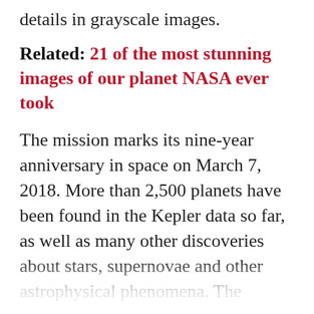details in grayscale images.
Related: 21 of the most stunning images of our planet NASA ever took
The mission marks its nine-year anniversary in space on March 7, 2018. More than 2,500 planets have been found in the Kepler data so far, as well as many other discoveries about stars, supernovae and other astrophysical phenomena. The mission is in its second extended operating phase and is known to have a limited lifetime. Its scientific success in discovering distant planets has paved the way for Transiting Exoplanet Survey Satellite